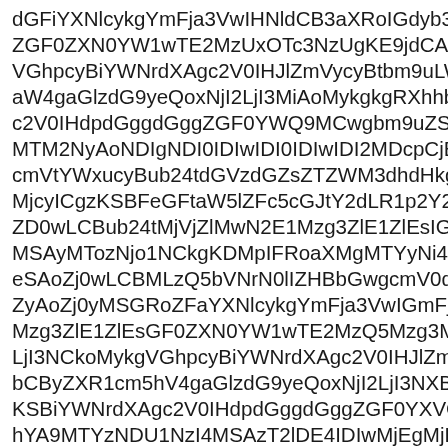dGFiYXNlcykgYmFja3VwIHNldCB3aXRoIGdyb3VwX
ZGF0ZXN0YW1wTE2MzUxOTc3NzUgKE9jdCAyNSA
VGhpcyBiYWNrdXAgc2V0IHJlZmVycyBtbm9uLWV
aW4gaGlzdG9yeQoxNjI2LjI3MiAoMykgkgRXhhbWIuaW
c2V0IHdpdGggdGggZGF0YWQ9MCwgbm9uZSBuY2
MTM2NyAoNDIgNDI0IDIwIDI0IDIwIDI2MDcpCjE
cmVtYWxucyBub24tdGVzdGZsZTZWM3dhdHkgKGY
MjcyICgzKSBFeGFtaW5lZFc5cGJtY2dLR1p2Y2lC
ZD0wLCBub24tMjVjZlMwN2E1Mzg3ZlE1ZlEsIGRhdGV2
MSAyMTozNjo1NCkgKMkMTYyNi4yNzMgKDMpIFRoaX
eSAoZj0wLCBMLzQ5bVNrN0lIZHBbGwgcmV0dXJuIGlucG
ZyAoZj0yMSGRoZFaYXNlcykgYmFja3VwIGmFja3
Mzg3ZlE1ZlEsGF0ZXN0YW1wTE2MzQ5Mzg3M
LjI3NCkoMykgVGhpcyBiYWNrdXAgc2V0IHJlZmVycyBt
bCByZXR1cm5hV4gaGlzdG9yeQoxNjI2LjI3NXBiMmM
S1NCaWNrdXAgc2V0IHdpdGggdGggZGF0YXVGJm
hYA9MTYzNDU5NzI4MSAyT2lDE4IDIwMjEgMjEgMiEgMi